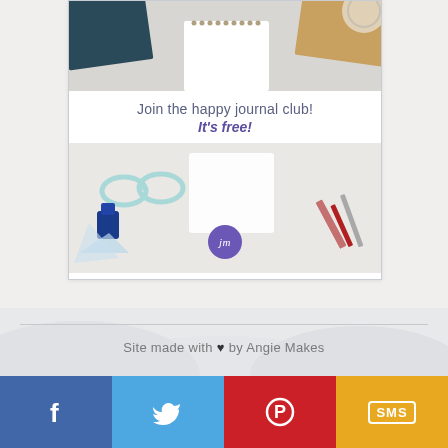[Figure (photo): Promotional card with journal/notebook flatlay photo at top, white text band in middle reading 'Join the happy journal club! It's free!', bottom flatlay photo with pencils, glasses, and a purple JM logo circle]
Join the happy journal club! It's free!
[Figure (infographic): Social sharing bar with four colored buttons: Facebook (blue, f icon), Twitter (light blue, bird icon), Pinterest (red, P icon), SMS (yellow, SMS text in box)]
Site made with ♥ by Angie Makes